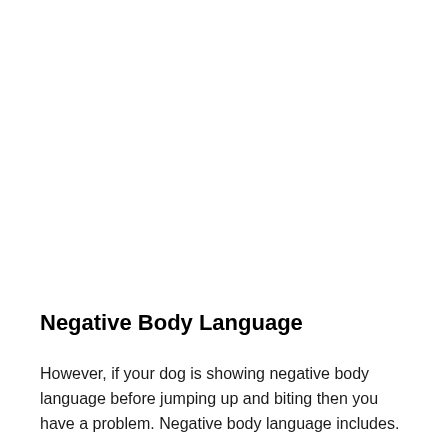Negative Body Language
However, if your dog is showing negative body language before jumping up and biting then you have a problem. Negative body language includes.